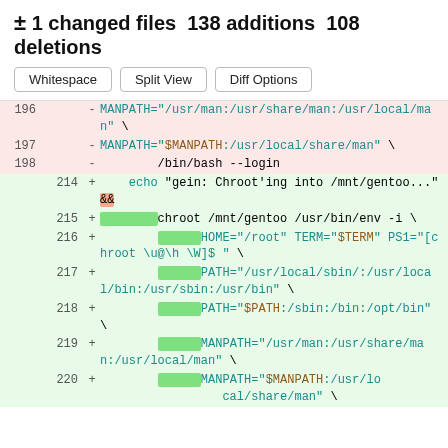± 1 changed files 138 additions 108 deletions
[Figure (screenshot): Git diff view showing deleted lines 196-198 with MANPATH and /bin/bash --login, and added lines 214-220 with echo chroot and environment variable assignments including HOME, TERM, PS1, PATH, and MANPATH settings.]